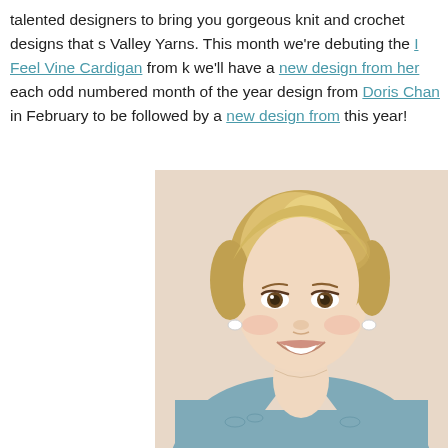talented designers to bring you gorgeous knit and crochet designs that s… Valley Yarns. This month we're debuting the I Feel Vine Cardigan from k… we'll have a new design from her each odd numbered month of the year… design from Doris Chan in February to be followed by a new design from… this year!
[Figure (photo): A smiling young woman with blonde hair in an updo, wearing a light blue/grey knit cardigan with lace-like vine pattern, photographed against a beige/cream background]